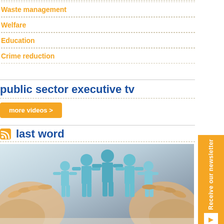Waste management
Welfare
Education
Crime reduction
public sector executive tv
more videos >
last word
[Figure (photo): Hands cradling paper cut-out figures of people holding hands, representing community and welfare.]